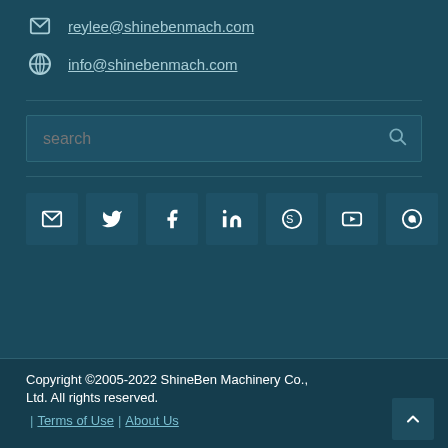reylee@shinebenmach.com
info@shinebenmach.com
[Figure (other): Search input box with magnifying glass icon]
[Figure (other): Social media icon buttons: email, Twitter, Facebook, LinkedIn, Skype, YouTube, WhatsApp]
Copyright ©2005-2022 ShineBen Machinery Co., Ltd. All rights reserved. Terms of Use | About Us